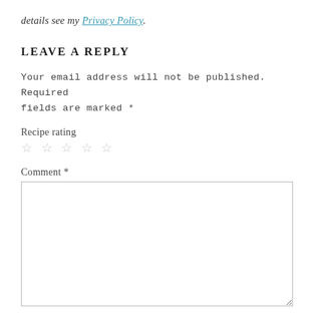details see my Privacy Policy.
LEAVE A REPLY
Your email address will not be published. Required fields are marked *
Recipe rating
☆ ☆ ☆ ☆ ☆
Comment *